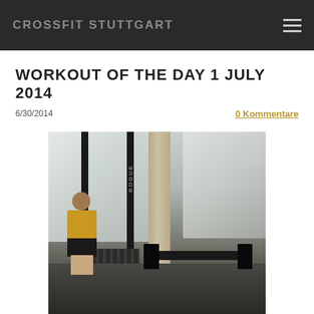CROSSFIT STUTTGART
WORKOUT OF THE DAY 1 JULY 2014
6/30/2014
0 Kommentare
[Figure (photo): CrossFit gym interior showing two athletes near a Rogue squat rack. A person in a yellow shirt stands on the left, another athlete lifts a barbell with weight plates on the right. Large windows with courtyard view in background.]